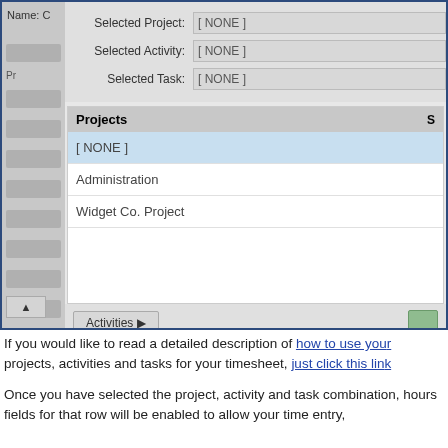[Figure (screenshot): Screenshot of a timesheet application dialog showing project selection. Fields for Selected Project, Selected Activity, and Selected Task all showing [NONE]. A Projects list panel below shows [NONE], Administration, and Widget Co. Project entries, with [NONE] highlighted in blue. An Activities button is at the bottom left.]
If you would like to read a detailed description of how to use your projects, activities and tasks for your timesheet, just click this link
Once you have selected the project, activity and task combination, hours fields for that row will be enabled to allow your time entry,